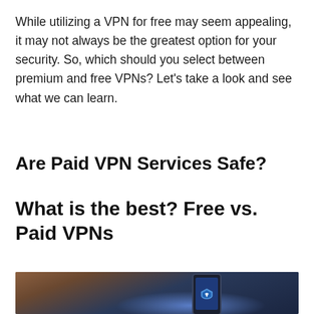While utilizing a VPN for free may seem appealing, it may not always be the greatest option for your security. So, which should you select between premium and free VPNs? Let's take a look and see what we can learn.
Are Paid VPN Services Safe?
What is the best? Free vs. Paid VPNs
[Figure (photo): A person holding a smartphone displaying the NordVPN logo shield icon on a blue screen, with a dark blurred background.]